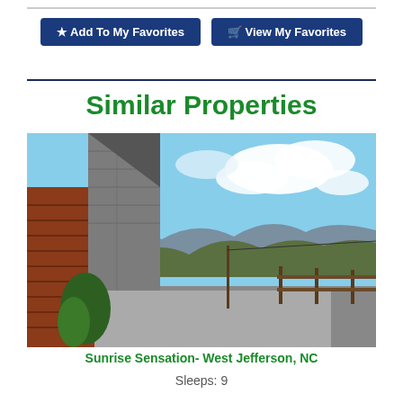Add To My Favorites
View My Favorites
Similar Properties
[Figure (photo): Exterior photo of a log cabin with stone chimney, showing a mountain valley view, blue sky with clouds, evergreen trees, and a wooden fence along a paved driveway.]
Sunrise Sensation- West Jefferson, NC
Sleeps: 9